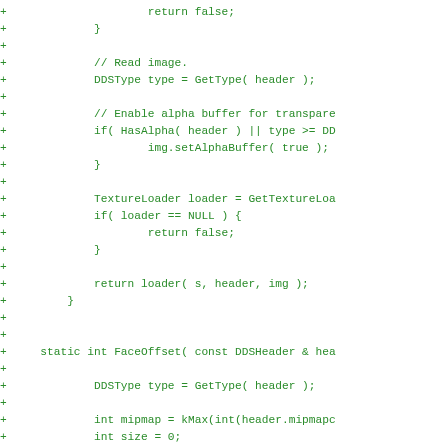[Figure (screenshot): Source code diff showing C++ code for DDS image loading and FaceOffset function, displayed in green monospace font on white background with '+' diff markers on each line.]